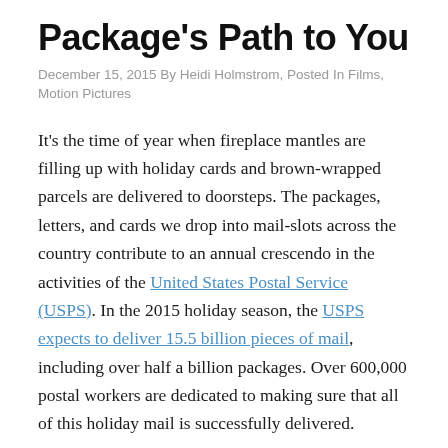Package's Path to You
December 15, 2015 By Heidi Holmstrom, Posted In Films, Motion Pictures
It's the time of year when fireplace mantles are filling up with holiday cards and brown-wrapped parcels are delivered to doorsteps. The packages, letters, and cards we drop into mail-slots across the country contribute to an annual crescendo in the activities of the United States Postal Service (USPS). In the 2015 holiday season, the USPS expects to deliver 15.5 billion pieces of mail, including over half a billion packages. Over 600,000 postal workers are dedicated to making sure that all of this holiday mail is successfully delivered.
But, even with all those people, 15.5 billion pieces of mail are just too much for humans alone to process…